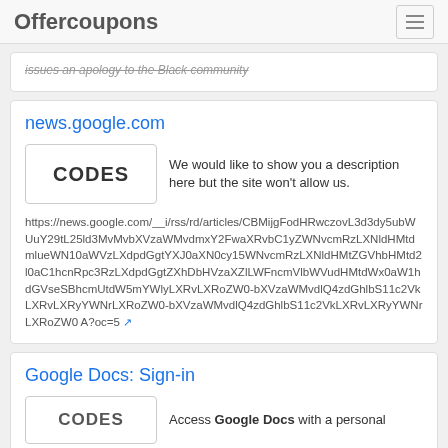Offercoupons
issues an apology to the Black community
news.google.com
CODES
We would like to show you a description here but the site won't allow us.
https://news.google.com/__i/rss/rd/articles/CBMijgFodHRwczovL3d3dy5ubWUuY29tL25ld3MvMvbXVzaWMvdlQ2FwaXRvbC1yZWNvcmRzLXNldHMtdmlueWN10aWVzLXdpdGgtYXJ0aXN0cy15WNvcmRzLXNldHMtZGVhbHMtd2l0aC1hcnRpc3RzLXdpdGgtZXhDbHVzaXZlLWFncmVlbWVudHMtdWx0aW1hdGVseSBhcmUtdW5mYWlyLXRvLXRoZW0-bXVzaWMvdlQ4zdGhlbS11c2VkLXRvLXRyYWNrLXRoZW0-bXVzaWMvdlQ4zdGhlbS11c2VkLXRvLXRyYWNrLXRoZW0 A?oc=5
Google Docs: Sign-in
Access Google Docs with a personal